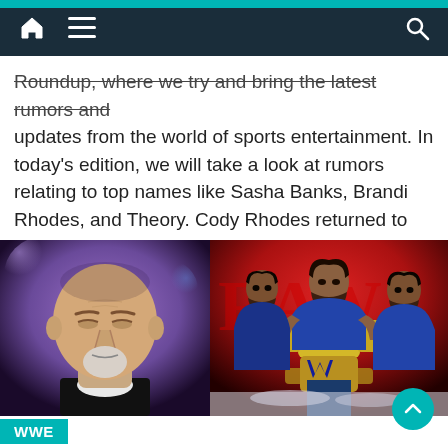Navigation bar with home, menu, and search icons
Roundup, where we try and bring the latest rumors and updates from the world of sports entertainment. In today's edition, we will take a look at rumors relating to top names like Sasha Banks, Brandi Rhodes, and Theory. Cody Rhodes returned to WWE after an absence of six [...]
[Figure (photo): Left half: close-up of bald male wrestler (Goldberg) with goatee against purple/blue bokeh background. Right half: Roman Reigns holding WWE championship belts flanked by two other men (The Usos) against red RAW backdrop.]
WWE